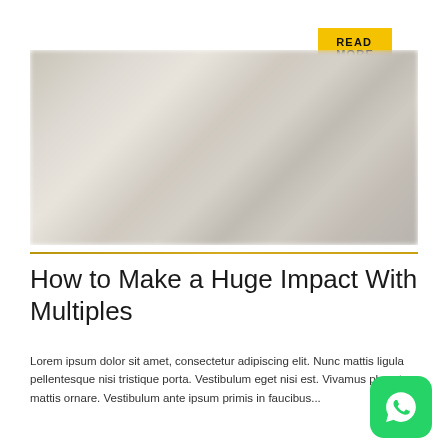READ MORE
[Figure (photo): Blurred interior room photo showing a modern minimalist space with light neutral tones, furniture outlines visible through blur effect]
How to Make a Huge Impact With Multiples
Lorem ipsum dolor sit amet, consectetur adipiscing elit. Nunc mattis ligula pellentesque nisi tristique porta. Vestibulum eget nisi est. Vivamus pharetra mattis ornare. Vestibulum ante ipsum primis in faucibus...